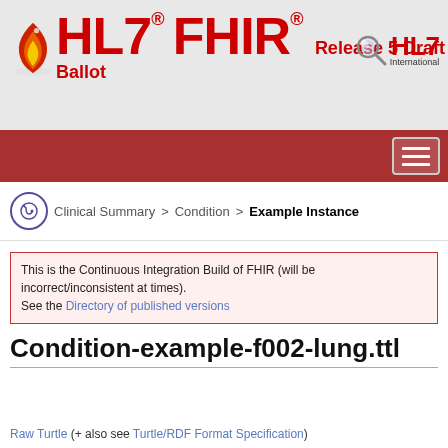[Figure (logo): HL7 FHIR logo with flame graphic and text 'HL7 FHIR Release 5 Draft Ballot' on grey background, with HL7 International search logo on right]
[Figure (other): Dark red navigation bar with hamburger menu icon]
Clinical Summary > Condition > Example Instance
This is the Continuous Integration Build of FHIR (will be incorrect/inconsistent at times). See the Directory of published versions
Condition-example-f002-lung.ttl
| Patient Care Work Group | Maturity Level: N/A | Standards Status: Informative | Compartments: Encounter, Patient, Practitioner, RelatedPerson |
| --- | --- | --- | --- |
Raw Turtle (+ also see Turtle/RDF Format Specification)